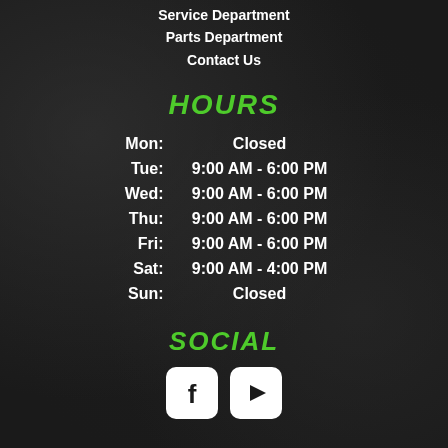Service Department
Parts Department
Contact Us
HOURS
| Day | Hours |
| --- | --- |
| Mon: | Closed |
| Tue: | 9:00 AM - 6:00 PM |
| Wed: | 9:00 AM - 6:00 PM |
| Thu: | 9:00 AM - 6:00 PM |
| Fri: | 9:00 AM - 6:00 PM |
| Sat: | 9:00 AM - 4:00 PM |
| Sun: | Closed |
SOCIAL
[Figure (illustration): Facebook icon (white rounded square with Facebook 'f' logo) and YouTube icon (white rounded square with play button triangle)]